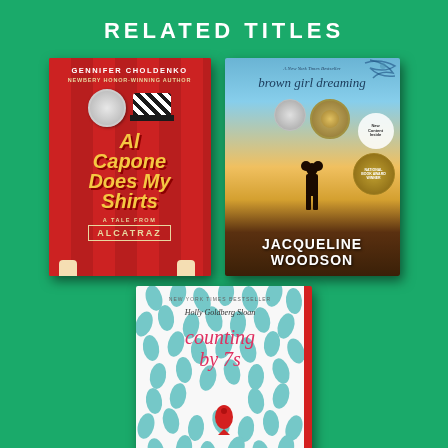RELATED TITLES
[Figure (photo): Book cover of 'Al Capone Does My Shirts' by Gennifer Choldenko, Newbery Honor-Winning Author. A Tale from Alcatraz. Red background with yellow and white title text, striped hat illustration, and Newbery Honor medal.]
[Figure (photo): Book cover of 'brown girl dreaming' by Jacqueline Woodson. A New York Times Bestseller. New Content Inside. National Book Award Winner. Shows silhouette of girl against golden sky background with multiple award medals.]
[Figure (photo): Book cover of 'counting by 7s' by Holly Goldberg Sloan. New York Times Bestseller. White cover with teal leaf pattern and single red fish illustration, red spine.]